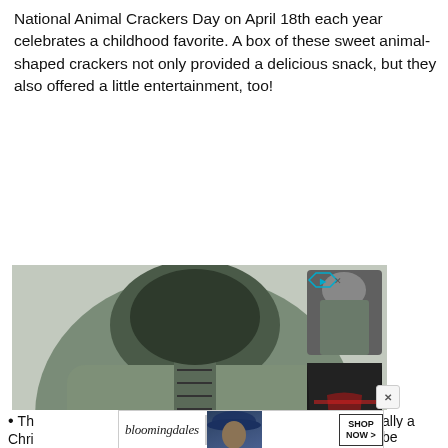National Animal Crackers Day on April 18th each year celebrates a childhood favorite. A box of these sweet animal-shaped crackers not only provided a delicious snack, but they also offered a little entertainment, too!
[Figure (photo): Advertisement for COTOSEN clothing brand showing a large green/olive hoodie with lace-up front and hood on the left, three smaller product images (shirts with American flag designs) on the right, and a bottom bar reading 'COTOSEN UP TO 50% OFF SHOP NOW >>']
[Figure (photo): Partial Bloomingdales advertisement showing their logo in italic script, a woman wearing a large hat, and a 'SHOP NOW >' button]
Th[e cracker was originally a Christmas treat and] Chri[stmas...be]